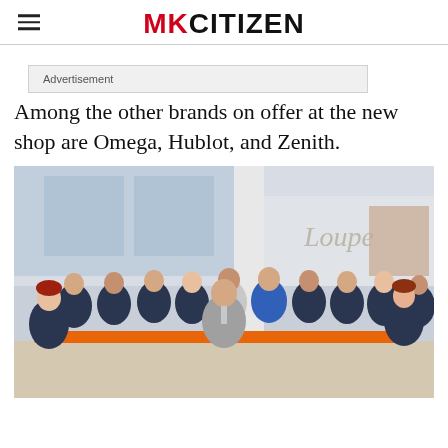MKCITIZEN
Advertisement
Among the other brands on offer at the new shop are Omega, Hublot, and Zenith.
[Figure (photo): Group of smartly dressed staff in dark suits standing in front of a Loupe store, holding an orange ribbon for a ribbon-cutting ceremony.]